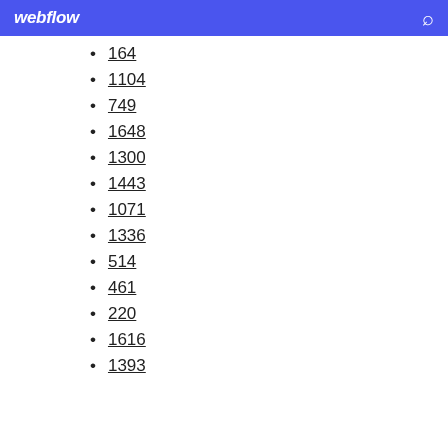webflow
164
1104
749
1648
1300
1443
1071
1336
514
461
220
1616
1393